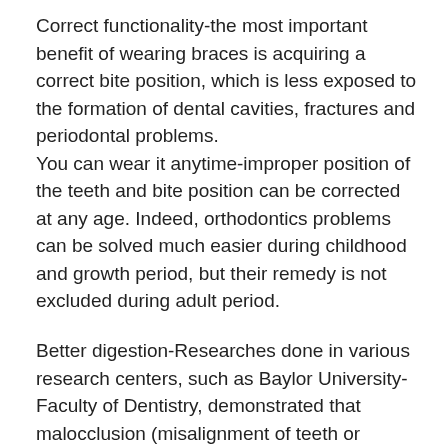Correct functionality-the most important benefit of wearing braces is acquiring a correct bite position, which is less exposed to the formation of dental cavities, fractures and periodontal problems. You can wear it anytime-improper position of the teeth and bite position can be corrected at any age. Indeed, orthodontics problems can be solved much easier during childhood and growth period, but their remedy is not excluded during adult period.
Better digestion-Researches done in various research centers, such as Baylor University-Faculty of Dentistry, demonstrated that malocclusion (misalignment of teeth or incorrect relationship between the teeth of the two dental arches) interferes with the ability to chew and break food, which affects our digestion and, ultimately, the overall health of the body. A killer smile though treatment can last for a long period of time, choosing braces can give you the smile you've always